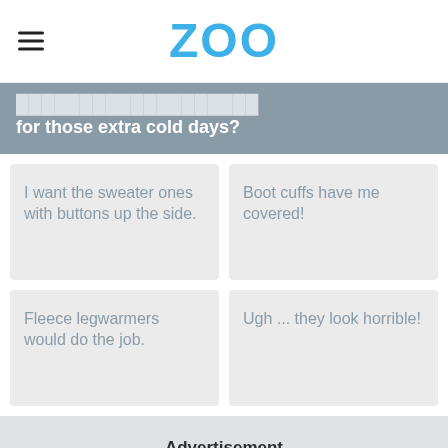ZOO
for those extra cold days?
I want the sweater ones with buttons up the side.
Boot cuffs have me covered!
Fleece legwarmers would do the job.
Ugh ... they look horrible!
Advertisement